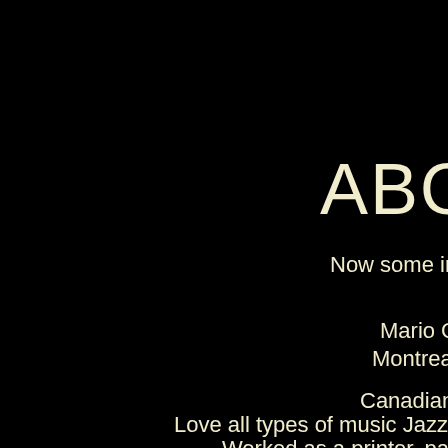ABOU
Now some info on the g
Mario G
Montreal
Canadian/
Love all types of music Jazz, ragtime,
Worked as a printer, painter, pictu
Languages: English, Fre